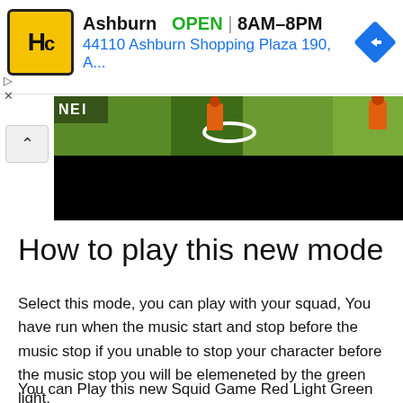[Figure (other): Advertisement banner for HC store in Ashburn showing logo, OPEN status, hours 8AM-8PM, address 44110 Ashburn Shopping Plaza 190, A..., and navigation icon]
[Figure (photo): Video/image area showing people playing a game on grass field with orange clothing, topped with a black video player bar]
How to play this new mode
Select this mode, you can play with your squad, You have run when the music start and stop before the music stop if you unable to stop your character before the music stop you will be elemeneted by the green light.
You can Play this new Squid Game Red Light Green Light New Mode both free and free fire max